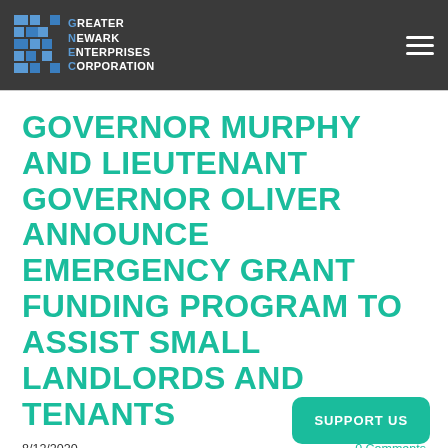Greater Newark Enterprises Corporation
GOVERNOR MURPHY AND LIEUTENANT GOVERNOR OLIVER ANNOUNCE EMERGENCY GRANT FUNDING PROGRAM TO ASSIST SMALL LANDLORDS AND TENANTS
8/12/2020
0 Comments
Office of Governor, Phil Murphy ›